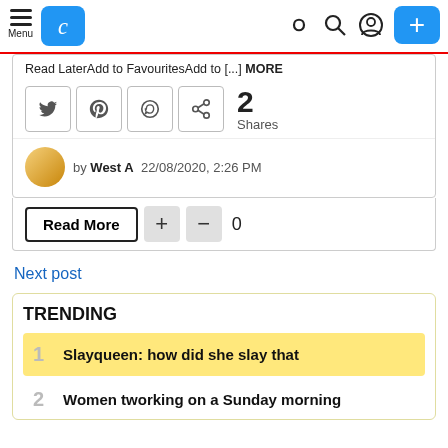Menu | [logo] | [icons] | +
Read LaterAdd to FavouritesAdd to [...] MORE
2 Shares
by West A  22/08/2020, 2:26 PM
Read More  +  −  0
Next post
TRENDING
1 Slayqueen: how did she slay that
2 Women tworking on a Sunday morning